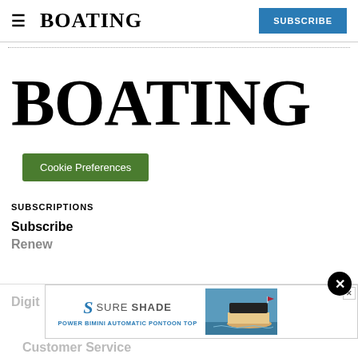BOATING | SUBSCRIBE
[Figure (logo): BOATING magazine large logo in bold serif font]
Cookie Preferences
SUBSCRIPTIONS
Subscribe
Renew
Digit
Customer Service
[Figure (screenshot): SureShade advertisement banner with logo and boat image - Power Bimini Automatic Pontoon Top]